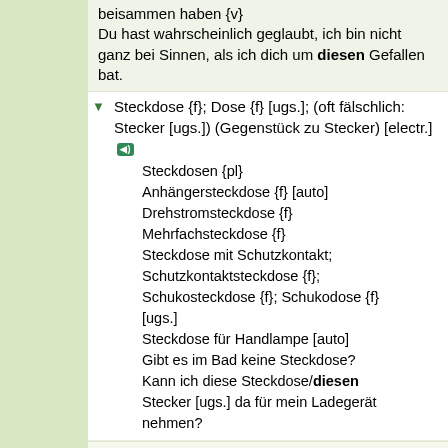beisammen haben {v} Du hast wahrscheinlich geglaubt, ich bin nicht ganz bei Sinnen, als ich dich um diesen Gefallen bat.
Steckdose {f}; Dose {f} [ugs.]; (oft fälschlich: Stecker [ugs.]) (Gegenstück zu Stecker) [electr.]
Steckdosen {pl}
Anhängersteckdose {f} [auto]
Drehstromsteckdose {f}
Mehrfachsteckdose {f}
Steckdose mit Schutzkontakt; Schutzkontaktsteckdose {f}; Schukosteckdose {f}; Schukodose {f} [ugs.]
Steckdose für Handlampe [auto]
Gibt es im Bad keine Steckdose?
Kann ich diese Steckdose/diesen Stecker [ugs.] da für mein Ladegerät nehmen?
Termin {m}; Verabredung {f}
Termine {pl}; Verabredungen {pl}
Besuchstermin {m}
Beratungstermin {m}
Folgetermin {m}
Impftermin {m}
Veranstaltungstermine für die Saison